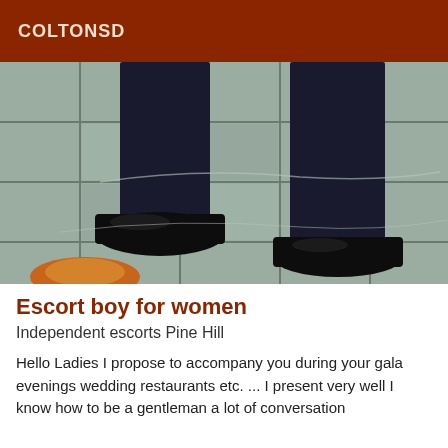COLTONSD
[Figure (photo): Close-up photo of men's dress shoes/boots on a tiled floor, showing legs in dark trousers from knee down, standing on grey tile flooring with grout lines visible]
Escort boy for women
Independent escorts Pine Hill
Hello Ladies I propose to accompany you during your gala evenings wedding restaurants etc. ... I present very well I know how to be a gentleman a lot of conversation